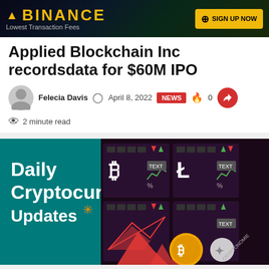[Figure (other): Binance advertisement banner with logo, 'Lowest Transaction Fees' tagline, and 'SIGN UP NOW' button]
Applied Blockchain Inc recordsdata for $60M IPO
Felecia Davis  April 8, 2022  NEWS  0  2 minute read
[Figure (illustration): Daily Cryptocurrency Updates promotional banner with crypto trading dashboard graphics, Bitcoin symbol, Litecoin symbol, price charts, and a Bitcoin coin image]